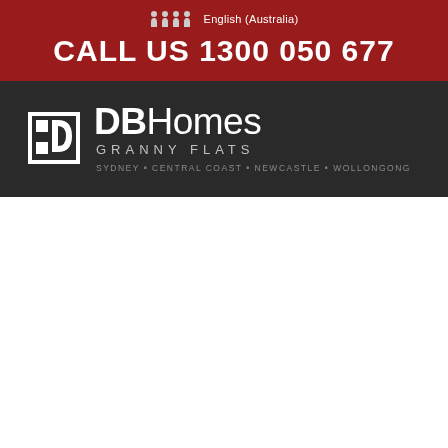English (Australia)
CALL US 1300 050 677
[Figure (logo): DB Homes Granny Flats logo with stylized square DB icon, text: DB Homes GRANNY FLATS, locations: SYDNEY • CENTRAL COAST • NEWCASTLE • WOLLONGONG]